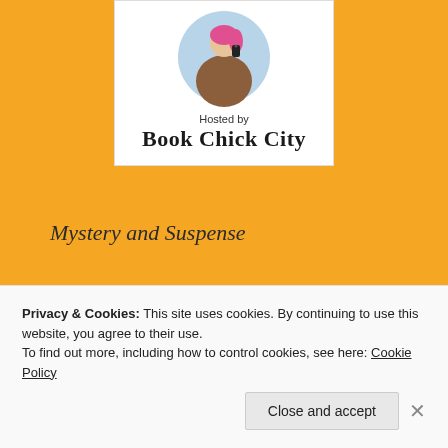[Figure (illustration): Book Chick City logo: circular illustration of a woman with pink hair holding a phone, above text 'Hosted by' and 'Book Chick City' in serif font on white background]
Mystery and Suspense
[Figure (photo): Book cover image showing dark brown/chocolate colored cylinder with cursive text 'Off The' visible]
Privacy & Cookies: This site uses cookies. By continuing to use this website, you agree to their use.
To find out more, including how to control cookies, see here: Cookie Policy
Close and accept